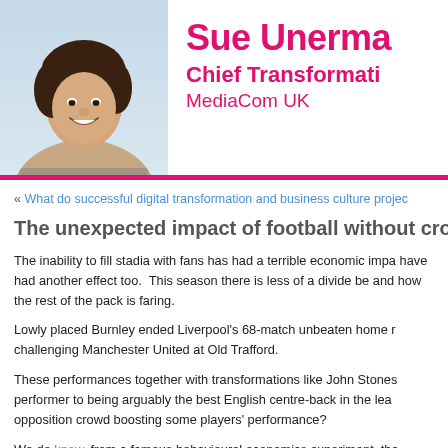[Figure (photo): Headshot photo of Sue Unerman, a woman with curly dark hair, smiling]
Sue Unerman
Chief Transformation
MediaCom UK
« What do successful digital transformation and business culture projec
The unexpected impact of football without crow
The inability to fill stadia with fans has had a terrible economic impa have had another effect too.  This season there is less of a divide be and how the rest of the pack is faring.
Lowly placed Burnley ended Liverpool's 68-match unbeaten home r challenging Manchester United at Old Trafford.
These performances together with transformations like John Stones performer to being arguably the best English centre-back in the lea opposition crowd boosting some players' performance?
We do know, from a famous behavioural economics experiment, tha